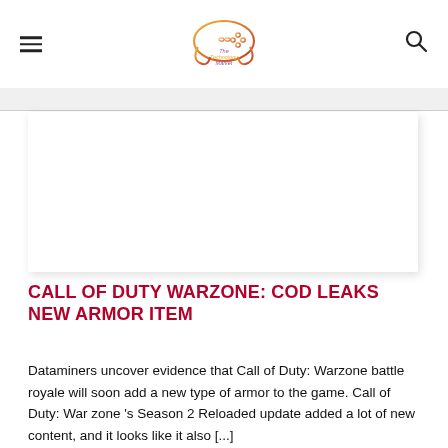The Technology Market — navigation header with logo, hamburger menu, and search icon
[Figure (illustration): White article image placeholder box with drop shadow]
CALL OF DUTY WARZONE: COD LEAKS NEW ARMOR ITEM
Dataminers uncover evidence that Call of Duty: Warzone battle royale will soon add a new type of armor to the game. Call of Duty: War zone 's Season 2 Reloaded update added a lot of new content, and it looks like it also [...]